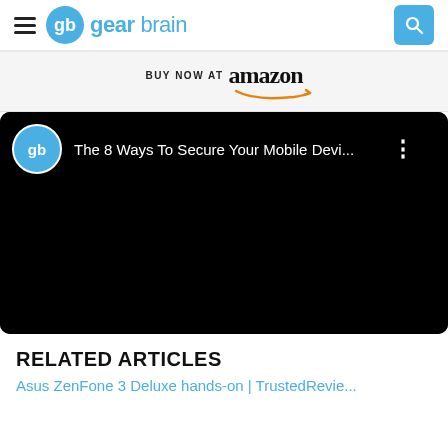gearbrain
[Figure (infographic): Amazon 'BUY NOW AT amazon' banner with Amazon logo and orange arrow]
[Figure (screenshot): Embedded YouTube/video player (black) showing GearBrain video titled 'The 8 Ways To Secure Your Mobile Devi...' with gearbrain logo icon and three-dot menu]
RELATED ARTICLES
Asus ZenFone 3 Deluxe hands-on | TrustedReviews